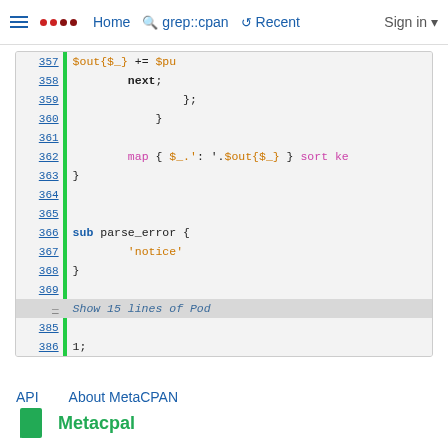≡  ●● Home  🔍 grep::cpan  ↺ Recent  Sign in ▾
[Figure (screenshot): Syntax-highlighted Perl source code viewer from MetaCPAN showing lines 357-369, 385-386 with a green vertical bar, and a collapsed 'Show 15 lines of Pod' section.]
API    About MetaCPAN
[Figure (logo): MetaCPAN logo with green bookmark icon and green stylized text]